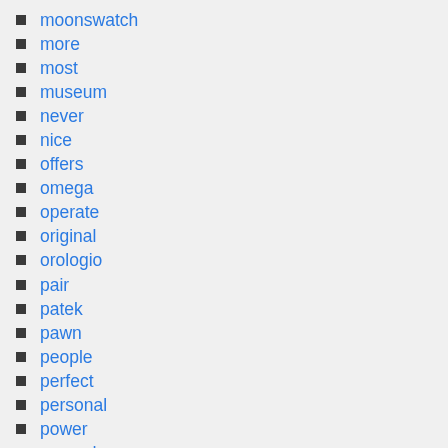moonswatch
more
most
museum
never
nice
offers
omega
operate
original
orologio
pair
patek
pawn
people
perfect
personal
power
pre-order
q172
quirky
rare
rare-vintage